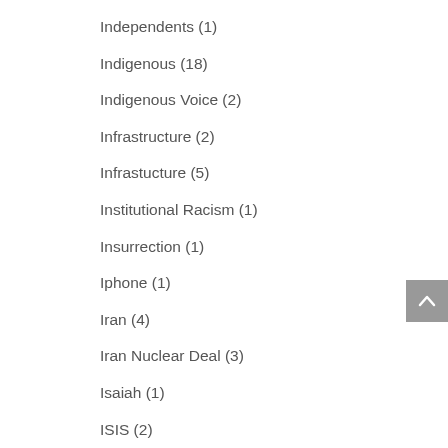Independents (1)
Indigenous (18)
Indigenous Voice (2)
Infrastructure (2)
Infrastucture (5)
Institutional Racism (1)
Insurrection (1)
Iphone (1)
Iran (4)
Iran Nuclear Deal (3)
Isaiah (1)
ISIS (2)